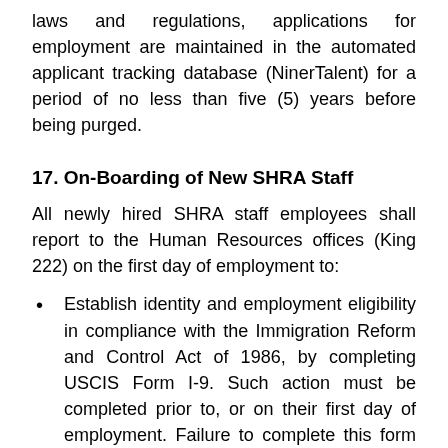laws and regulations, applications for employment are maintained in the automated applicant tracking database (NinerTalent) for a period of no less than five (5) years before being purged.
17. On-Boarding of New SHRA Staff
All newly hired SHRA staff employees shall report to the Human Resources offices (King 222) on the first day of employment to:
Establish identity and employment eligibility in compliance with the Immigration Reform and Control Act of 1986, by completing USCIS Form I-9. Such action must be completed prior to, or on their first day of employment. Failure to complete this form on or before his/her first day of employment may result in separation. New